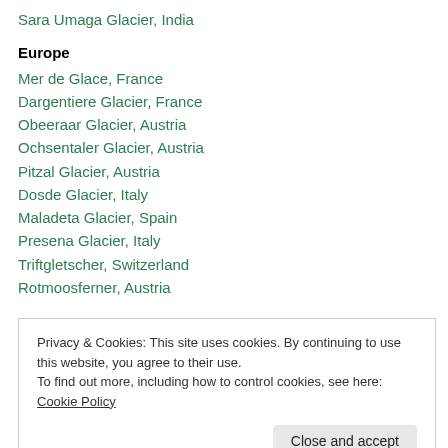Sara Umaga Glacier, India
Europe
Mer de Glace, France
Dargentiere Glacier, France
Obeeraar Glacier, Austria
Ochsentaler Glacier, Austria
Pitzal Glacier, Austria
Dosde Glacier, Italy
Maladeta Glacier, Spain
Presena Glacier, Italy
Triftgletscher, Switzerland
Rotmoosferner, Austria
Privacy & Cookies: This site uses cookies. By continuing to use this website, you agree to their use.
To find out more, including how to control cookies, see here: Cookie Policy
Midtdalsbreen, Norway